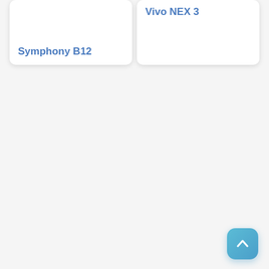Symphony B12
Vivo NEX 3
[Figure (other): Scroll to top button with upward chevron arrow, blue rounded square button in bottom right corner]